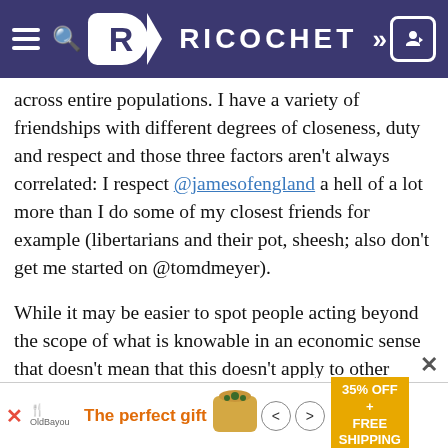RICOCHET
across entire populations. I have a variety of friendships with different degrees of closeness, duty and respect and those three factors aren't always correlated: I respect @jamesofengland a hell of a lot more than I do some of my closest friends for example (libertarians and their pot, sheesh; also don't get me started on @tomdmeyer).
While it may be easier to spot people acting beyond the scope of what is knowable in an economic sense that doesn't mean that this doesn't apply to other areas of life. The libertarian position is that what works for you may not work for me so let us each live life as we see fit. In the aggregate, this will work to SoCons favor as they believe they hold the best
[Figure (screenshot): Advertisement banner at bottom: 'The perfect gift' with 35% OFF + FREE SHIPPING offer, showing a food/gift item image with navigation arrows]